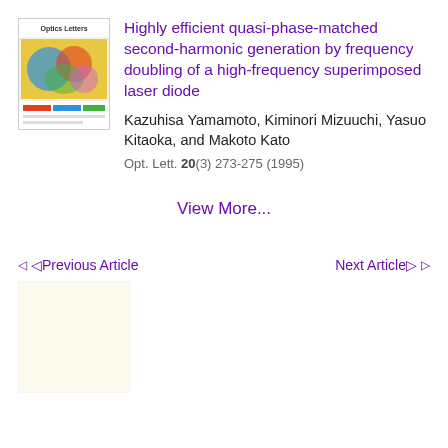[Figure (photo): Journal cover of Optics Letters showing colorful optical imagery]
Highly efficient quasi-phase-matched second-harmonic generation by frequency doubling of a high-frequency superimposed laser diode
Kazuhisa Yamamoto, Kiminori Mizuuchi, Yasuo Kitaoka, and Makoto Kato
Opt. Lett. 20(3) 273-275 (1995)
View More...
◁Previous Article
Next Article▷